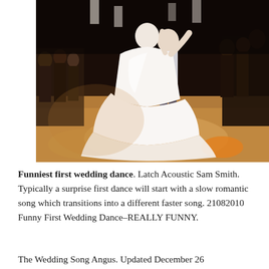[Figure (photo): A bride in a white ball gown wedding dress dancing with a man on a dance floor, surrounded by wedding guests watching from the sides. The venue is dimly lit with warm floor lighting.]
Funniest first wedding dance. Latch Acoustic Sam Smith. Typically a surprise first dance will start with a slow romantic song which transitions into a different faster song. 21082010 Funny First Wedding Dance–REALLY FUNNY.
The Wedding Song Angus. Updated December 26